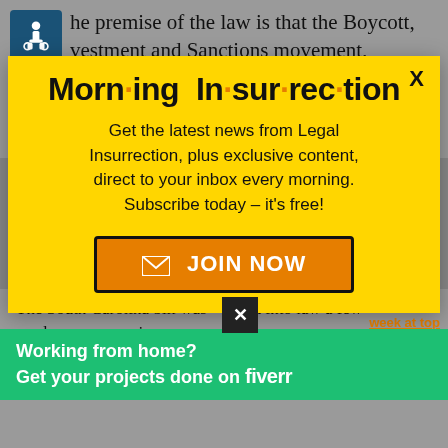he premise of the law is that the Boycott, vestment and Sanctions movement, colloquially known as BDS, discriminates against the people of Israel and weakens the
[Figure (infographic): Yellow modal popup for Morning Insurrection newsletter subscription with 'JOIN NOW' button]
The South Carolina bill was signed into law a few weeks ago... the state... businesses that boycott Israel. Shortly afterwards